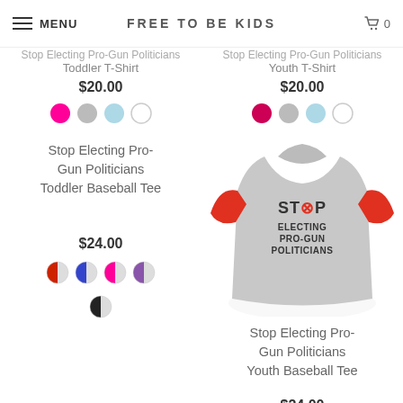MENU | FREE TO BE KIDS | 0
Toddler T-Shirt
$20.00
Youth T-Shirt
$20.00
Stop Electing Pro-Gun Politicians Toddler Baseball Tee
$24.00
[Figure (photo): Baseball tee with red sleeves and gray body reading STOP ELECTING PRO-GUN POLITICIANS]
Stop Electing Pro-Gun Politicians Youth Baseball Tee
$24.00